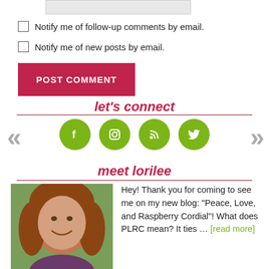Notify me of follow-up comments by email.
Notify me of new posts by email.
POST COMMENT
let's connect
[Figure (infographic): Four green circular social media icons: Facebook, Instagram, RSS feed, Twitter]
meet lorilee
[Figure (photo): Portrait photo of Lorilee, a woman with long brown hair, smiling]
Hey! Thank you for coming to see me on my new blog: "Peace, Love, and Raspberry Cordial"! What does PLRC mean? It ties … [read more]